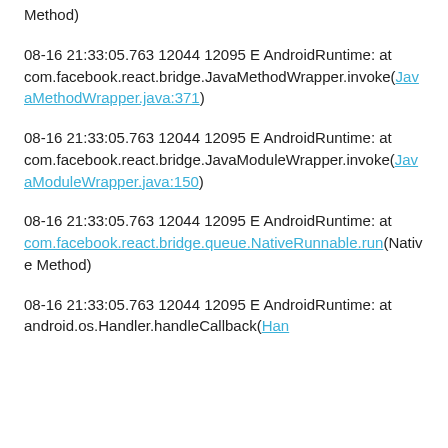Method)
08-16 21:33:05.763 12044 12095 E AndroidRuntime: at com.facebook.react.bridge.JavaMethodWrapper.invoke(JavaMethodWrapper.java:371)
08-16 21:33:05.763 12044 12095 E AndroidRuntime: at com.facebook.react.bridge.JavaModuleWrapper.invoke(JavaModuleWrapper.java:150)
08-16 21:33:05.763 12044 12095 E AndroidRuntime: at com.facebook.react.bridge.queue.NativeRunnable.run(Native Method)
08-16 21:33:05.763 12044 12095 E AndroidRuntime: at android.os.Handler.handleCallback(Han